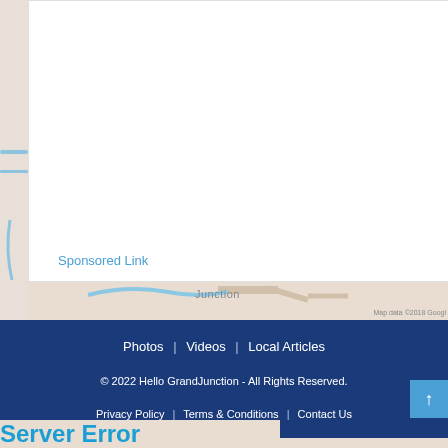[Figure (map): Google Maps view of Grand Junction area with roads and terrain shown in beige/tan color scheme with blue water features. White advertisement box overlaid on top portion.]
Sponsored Link
Junction
Photos | Videos | Local Articles
© 2022 Hello GrandJunction - All Rights Reserved.
Privacy Policy | Terms & Conditions | Contact Us
Server Error